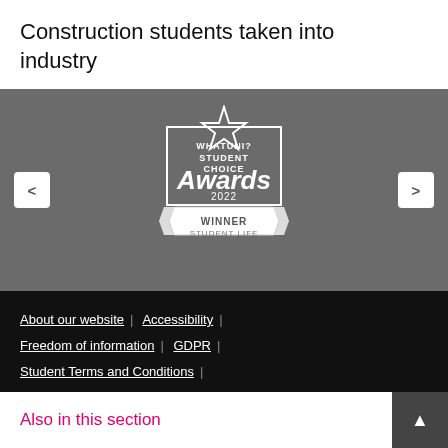Construction students taken into industry
[Figure (logo): WhatUni? Student Choice Awards 2022 - Winner Student Life badge/logo on grey background with navigation arrows on left and right]
About our website | Accessibility | Freedom of information | GDPR | Student Terms and Conditions | Website Cookies and Privacy Policy
© Nottingham Trent University
Also in this section